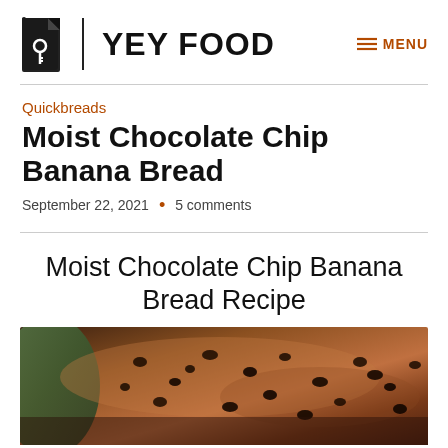YEY FOOD
Quickbreads
Moist Chocolate Chip Banana Bread
September 22, 2021  •  5 comments
Moist Chocolate Chip Banana Bread Recipe
[Figure (photo): Close-up photo of moist chocolate chip banana bread, showing the top with chocolate chips, with a green spatula or dish visible on the left side.]